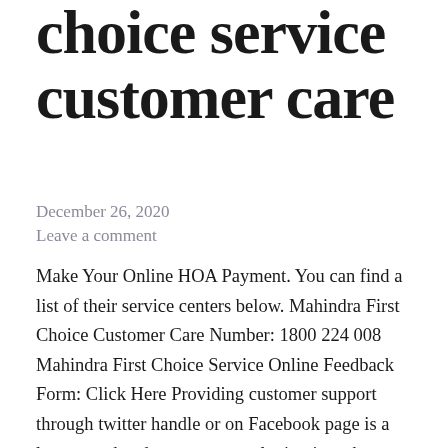choice service customer care
December 26, 2020
Leave a comment
Make Your Online HOA Payment. You can find a list of their service centers below. Mahindra First Choice Customer Care Number: 1800 224 008 Mahindra First Choice Service Online Feedback Form: Click Here Providing customer support through twitter handle or on Facebook page is a latest trend and customers are loving it as the resolutions are usually faster when you post your complaint publicly on Mahindra First Choice's Facebook page or on the twitter. Mahindra First Choice Customer Care Number: 1800 224 008 Mahindra First Choice Service Online Feedback Form: Click Here 2 Lakhs in